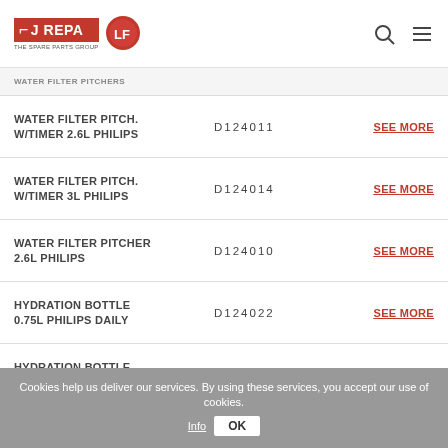REPA THE SPARE PARTS GROUP | LF logo
WATER FILTER PITCH. W/TIMER 2.6L PHILIPS | D124011 | SEE MORE
WATER FILTER PITCH. W/TIMER 3L PHILIPS | D124014 | SEE MORE
WATER FILTER PITCHER 2.6L PHILIPS | D124010 | SEE MORE
HYDRATION BOTTLE 0.75L PHILIPS DAILY | D124022 | SEE MORE
HYDRATION BOTTLE 0.75L PHILIPS DAILY | D124024 | SEE MORE
HYDRATION BOTTLE SMART 0.6L PHILIPS | D124027 | SEE MORE
Cookies help us deliver our services. By using these services, you accept our use of cookies. Info OK